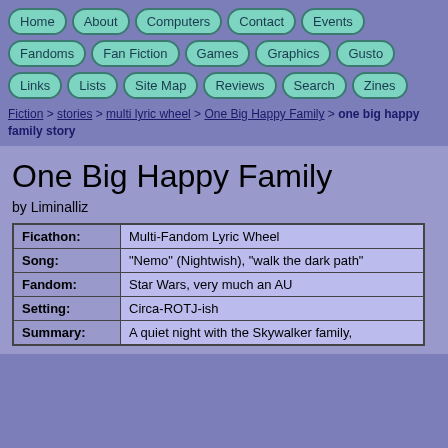Home | About | Computers | Contact | Events | Fandoms | Fan Fiction | Games | Graphics | Gusto | Links | Lists | Site Map | Reviews | Search | Zines
Fiction > stories > multi lyric wheel > One Big Happy Family > one big happy family story
One Big Happy Family
by Liminalliz
| Field | Value |
| --- | --- |
| Ficathon: | Multi-Fandom Lyric Wheel |
| Song: | "Nemo" (Nightwish), "walk the dark path" |
| Fandom: | Star Wars, very much an AU |
| Setting: | Circa-ROTJ-ish |
| Summary: | A quiet night with the Skywalker family, |